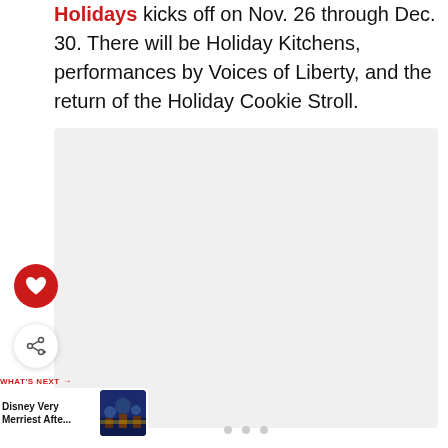Holidays kicks off on Nov. 26 through Dec. 30. There will be Holiday Kitchens, performances by Voices of Liberty, and the return of the Holiday Cookie Stroll.
[Figure (photo): Image placeholder with carousel dots, shown as a light gray rectangle]
[Figure (infographic): Heart (favorite) button — red circle with white heart icon]
[Figure (infographic): Share button — white circle with share/add icon]
WHAT'S NEXT → Disney Very Merriest Afte...